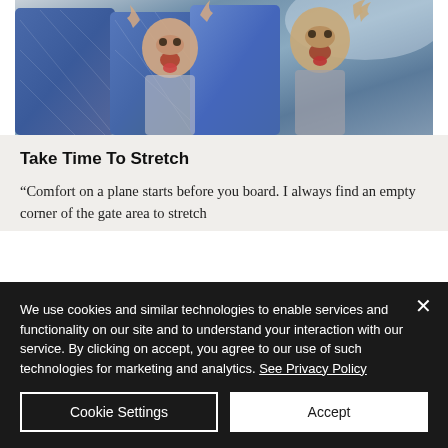[Figure (photo): Photo of two children laughing and making funny faces in airplane seats, sticking out tongues and raising hands, with blue patterned seat backs visible]
Take Time To Stretch
“Comfort on a plane starts before you board. I always find an empty corner of the gate area to stretch
We use cookies and similar technologies to enable services and functionality on our site and to understand your interaction with our service. By clicking on accept, you agree to our use of such technologies for marketing and analytics. See Privacy Policy
Cookie Settings
Accept